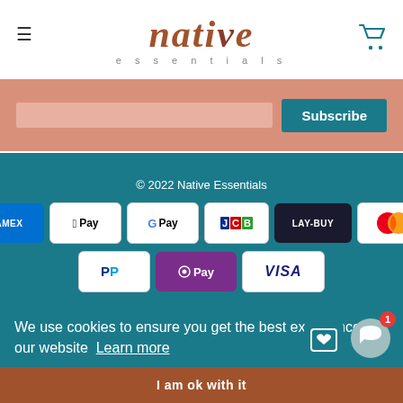native essentials
[Figure (logo): Native Essentials logo with stylized italic serif text 'native' in brown/terracotta and 'essentials' in small grey lettering below]
Subscribe
© 2022 Native Essentials
[Figure (infographic): Payment method icons: AMEX, Apple Pay, Google Pay, JCB, LAY-BUY, Mastercard, PayPal, OPay, VISA]
We use cookies to ensure you get the best experience on our website Learn more
I am ok with it